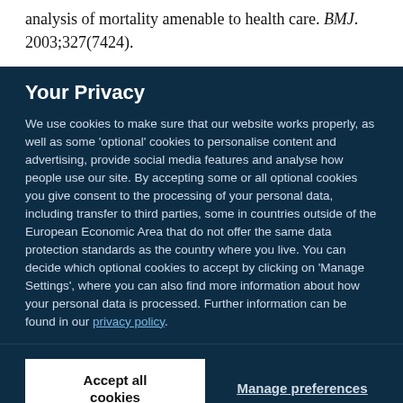analysis of mortality amenable to health care. BMJ. 2003;327(7424).
Your Privacy
We use cookies to make sure that our website works properly, as well as some 'optional' cookies to personalise content and advertising, provide social media features and analyse how people use our site. By accepting some or all optional cookies you give consent to the processing of your personal data, including transfer to third parties, some in countries outside of the European Economic Area that do not offer the same data protection standards as the country where you live. You can decide which optional cookies to accept by clicking on 'Manage Settings', where you can also find more information about how your personal data is processed. Further information can be found in our privacy policy.
Accept all cookies
Manage preferences